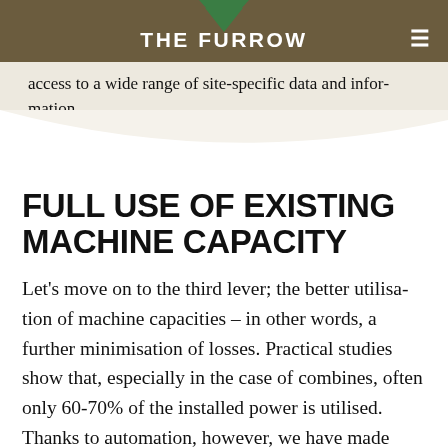THE FURROW
access to a wide range of site-specific data and information.
FULL USE OF EXISTING MACHINE CAPACITY
Let's move on to the third lever; the better utilisation of machine capacities – in other words, a further minimisation of losses. Practical studies show that, especially in the case of combines, often only 60-70% of the installed power is utilised. Thanks to automation, however, we have made progress here in recent years. The automated combine sets-up itself and operates fully automatically.